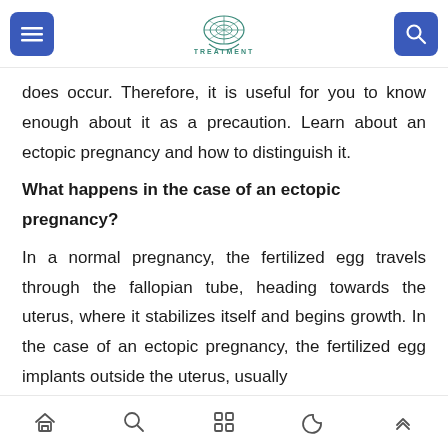TREATMENT
does occur. Therefore, it is useful for you to know enough about it as a precaution. Learn about an ectopic pregnancy and how to distinguish it.
What happens in the case of an ectopic pregnancy?
In a normal pregnancy, the fertilized egg travels through the fallopian tube, heading towards the uterus, where it stabilizes itself and begins growth. In the case of an ectopic pregnancy, the fertilized egg implants outside the uterus, usually